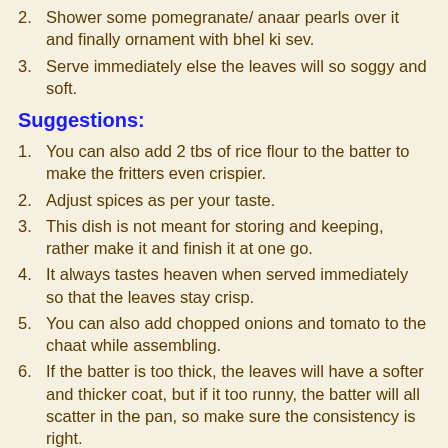2. Shower some pomegranate/ anaar pearls over it and finally ornament with bhel ki sev.
3. Serve immediately else the leaves will so soggy and soft.
Suggestions:
1. You can also add 2 tbs of rice flour to the batter to make the fritters even crispier.
2. Adjust spices as per your taste.
3. This dish is not meant for storing and keeping, rather make it and finish it at one go.
4. It always tastes heaven when served immediately so that the leaves stay crisp.
5. You can also add chopped onions and tomato to the chaat while assembling.
6. If the batter is too thick, the leaves will have a softer and thicker coat, but if it too runny, the batter will all scatter in the pan, so make sure the consistency is right.